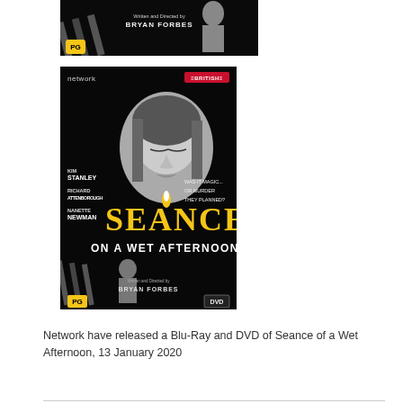[Figure (photo): Top partial crop of the Seance on a Wet Afternoon movie poster/cover showing black and white image with 'Written and Directed by BRYAN FORBES' text and PG rating badge]
[Figure (photo): Full DVD cover of 'Seance on a Wet Afternoon' by Network. Black cover with black and white image of woman with candle flame. Cast: Kim Stanley, Richard Attenborough, Nanette Newman. Tagline: 'Was it magic... or murder they planned?' Title in golden candle-wax style lettering. Network and BRITISH logos top. PG rating and DVD logo bottom.]
Network have released a Blu-Ray and DVD of Seance of a Wet Afternoon, 13 January 2020